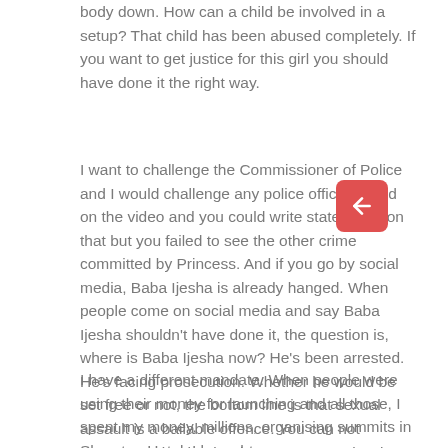body down. How can a child be involved in a setup? That child has been abused completely. If you want to get justice for this girl you should have done it the right way.
I want to challenge the Commissioner of Police and I would challenge any police officer based on the video and you could write statements on that but you failed to see the other crime committed by Princess. And if you go by social media, Baba Ijesha is already hanged. When people come on social media and say Baba Ijesha shouldn't have done it, the question is, where is Baba Ijesha now? He's been arrested. He's facing prosecution. Whether he would be set free or not, the bottom line is that sexual assault is a bailable offence. You can not exaggerate it. That is why you can't put law into your hands. With all I have said, you didn't see anything wrong from the Princess angle, you only want to use the Child Protection Act to nail Baba Ijesha… The Police should look into this as well.
I have a different mandate. When people were using their money for launching and all those, I spent my money, millions, organising summits in Sheraton Hotel. I brought